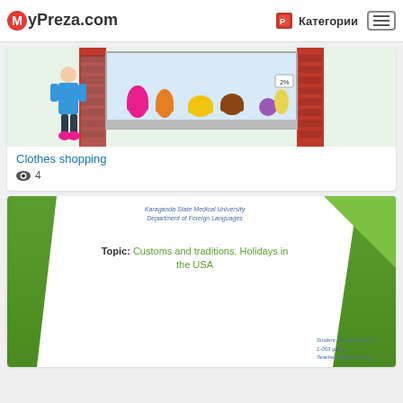MyPreza.com  Категории
[Figure (illustration): Illustration of a clothes shop window with shoes, boots and clothing items on display, and a person standing at the entrance]
Clothes shopping
4
[Figure (screenshot): Slide thumbnail from Karaganda State Medical University, Department of Foreign Languages. Topic: Customs and traditions. Holidays in the USA. Student: Dusimbekov D.I., 1-003 group, Teacher: Begimova O.I. Karaganda 2014. Decorative green diagonal shapes on left and right sides.]